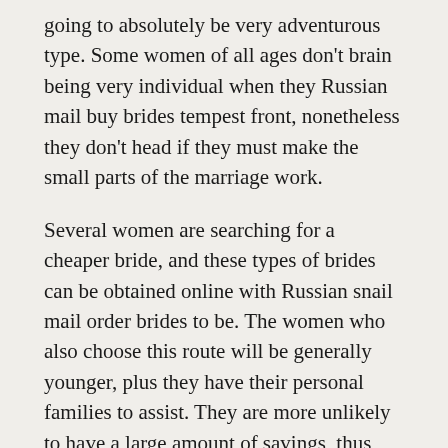going to absolutely be very adventurous type. Some women of all ages don't brain being very individual when they Russian mail buy brides tempest front, nonetheless they don't head if they must make the small parts of the marriage work.
Several women are searching for a cheaper bride, and these types of brides can be obtained online with Russian snail mail order brides to be. The women who also choose this route will be generally younger, plus they have their personal families to assist. They are more unlikely to have a large amount of savings, thus their Russian mail order brides costs is typically less costly than it might be in a more typical setting. Many younger wedding brides find it easier to maintain a social existence outside their marriage and tend to be happier to never be devoted to someone for years to come. This is especially true of mothers, who find it